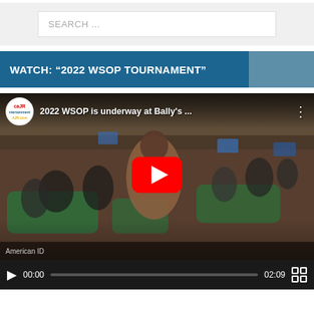[Figure (screenshot): Search bar input field with placeholder text 'SEARCH ...' on a light gray background]
WATCH: “2022 WSOP TOURNAMENT”
[Figure (screenshot): YouTube video thumbnail showing 2022 WSOP poker tournament at Bally's with play button overlay. Video title: '2022 WSOP is underway at Bally's ...' Duration shown as 02:09 with current time 00:00.]